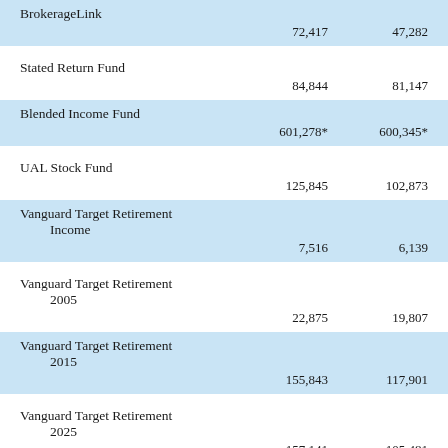| Fund | Value1 | Value2 |
| --- | --- | --- |
| BrokerageLink | 72,417 | 47,282 |
| Stated Return Fund | 84,844 | 81,147 |
| Blended Income Fund | 601,278* | 600,345* |
| UAL Stock Fund | 125,845 | 102,873 |
| Vanguard Target Retirement Income | 7,516 | 6,139 |
| Vanguard Target Retirement 2005 | 22,875 | 19,807 |
| Vanguard Target Retirement 2015 | 155,843 | 117,901 |
| Vanguard Target Retirement 2025 | 157,141 | 105,481 |